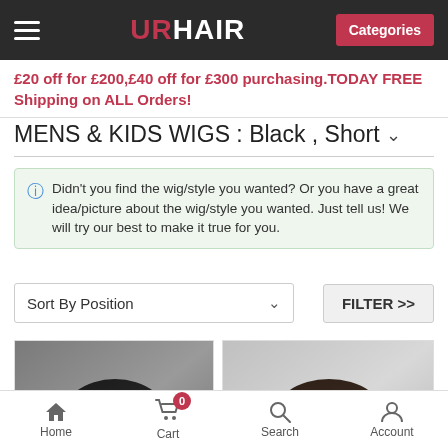URHAIR — Categories
£20 off for £200,£40 off for £300 purchasing.TODAY FREE Shipping on ALL Orders!
MENS & KIDS WIGS : Black , Short
Didn't you find the wig/style you wanted? Or you have a great idea/picture about the wig/style you wanted. Just tell us! We will try our best to make it true for you.
Sort By Position
FILTER >>
[Figure (photo): Photo of a man wearing a short black wig, viewed from front, dark grey background]
[Figure (photo): Photo of a man wearing a short dark brown wig, viewed from slight angle, light grey background]
Home  Cart  Search  Account